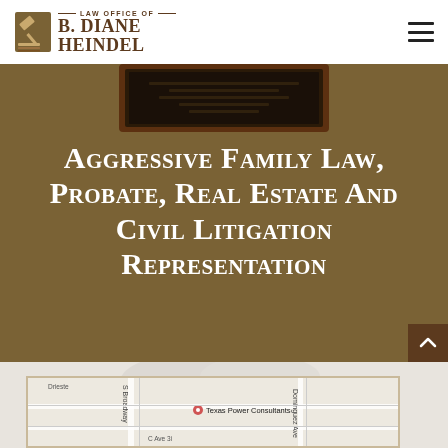[Figure (logo): Law Office of B. Diane Heindel logo with gavel icon and firm name]
[Figure (photo): Partially visible diploma or plaque in a dark wood frame against a brown background]
Aggressive Family Law, Probate, Real Estate And Civil Litigation Representation
[Figure (map): Google Maps embed showing the office location near Texas Power Consultants on S Broadway]